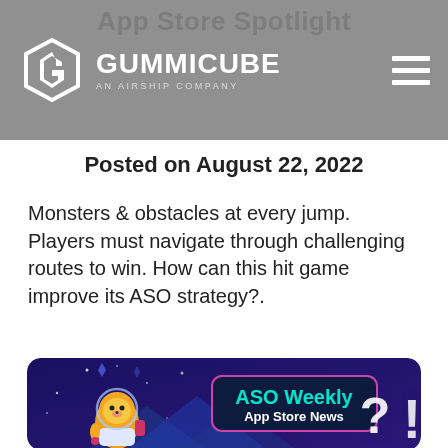App Store Spotlight
Posted on August 22, 2022
Monsters & obstacles at every jump. Players must navigate through challenging routes to win. How can this hit game improve its ASO strategy?.
[Figure (illustration): Promotional banner for ASO Weekly App Store News featuring an animated dog character in an astronaut suit against a blue starry background, with text 'ASO Weekly App Store News' in a dark rounded rectangle with cyan heading, and a large white question mark and exclamation mark on the right.]